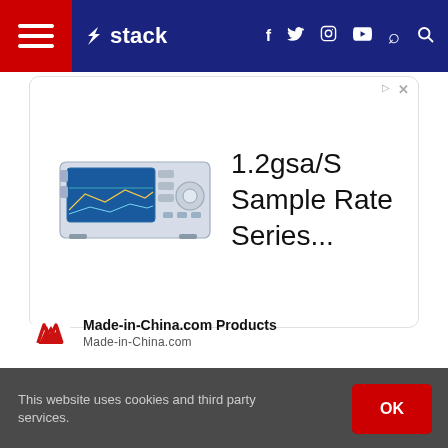stack — navigation bar with hamburger menu, logo, social icons (f, twitter, instagram, youtube), search
[Figure (screenshot): Advertisement showing a spectrum analyzer / test instrument with text '1.2gsa/S Sample Rate Series...' from Made-in-China.com Products]
Made-in-China.com Products
Made-in-China.com
“Take all of your visits, especially [if you’ve] been in-state your whole life. Get down to the schools as
This website uses cookies and third party services.